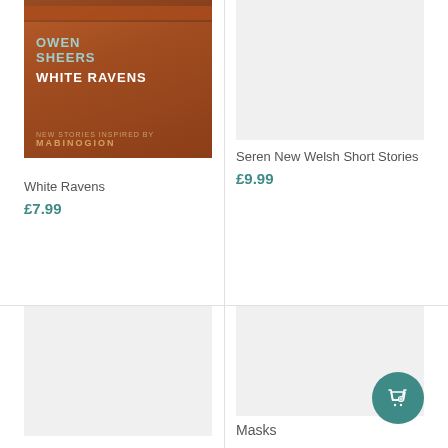[Figure (photo): Book cover for White Ravens by Owen Sheers - orange/brown textured cover with teal author name and white title, subtitle references Mabinogion]
White Ravens
£7.99
[Figure (photo): Placeholder grey image for Seren New Welsh Short Stories book cover]
Seren New Welsh Short Stories
£9.99
[Figure (photo): Placeholder grey image for bottom-left product]
[Figure (photo): Placeholder grey image for Masks book cover with teal shopping bag icon in bottom right]
Masks